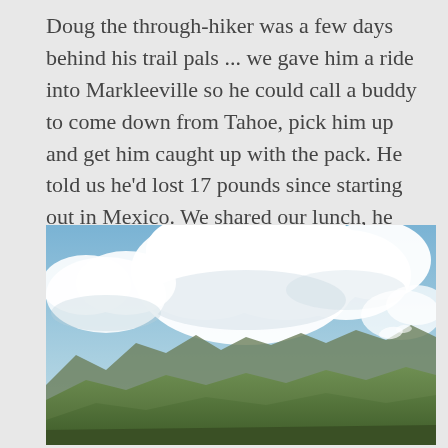Doug the through-hiker was a few days behind his trail pals ... we gave him a ride into Markleeville so he could call a buddy to come down from Tahoe, pick him up and get him caught up with the pack. He told us he'd lost 17 pounds since starting out in Mexico. We shared our lunch, he generally chowed down.
[Figure (photo): Outdoor mountain landscape photograph showing a wide blue sky with large white cumulus clouds, mountain ridgelines in the background, and green hillsides in the foreground.]